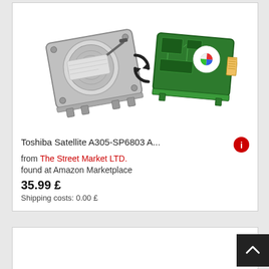[Figure (illustration): Two laptop hard drives with a circular refresh/swap arrow icon between them — one HDD showing the top platter side and one showing the bottom PCB side]
Toshiba Satellite A305-SP6803 A... from The Street Market LTD.
found at Amazon Marketplace
35.99 £
Shipping costs: 0.00 £